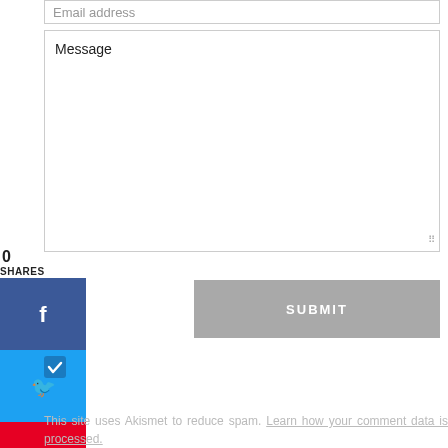Email address
Message
0
SHARES
[Figure (infographic): Social share sidebar with Facebook (blue), Twitter (light blue), and Pinterest (red) buttons]
SUBMIT
[Figure (other): Blue checkbox with white checkmark]
This site uses Akismet to reduce spam. Learn how your comment data is processed.